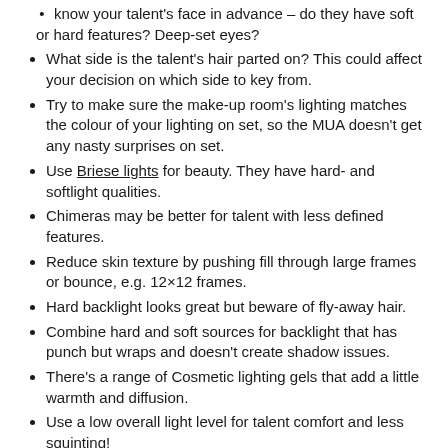know your talent's face in advance – do they have soft or hard features? Deep-set eyes?
What side is the talent's hair parted on? This could affect your decision on which side to key from.
Try to make sure the make-up room's lighting matches the colour of your lighting on set, so the MUA doesn't get any nasty surprises on set.
Use Briese lights for beauty. They have hard- and softlight qualities.
Chimeras may be better for talent with less defined features.
Reduce skin texture by pushing fill through large frames or bounce, e.g. 12×12 frames.
Hard backlight looks great but beware of fly-away hair.
Combine hard and soft sources for backlight that has punch but wraps and doesn't create shadow issues.
There's a range of Cosmetic lighting gels that add a little warmth and diffusion.
Use a low overall light level for talent comfort and less squinting!